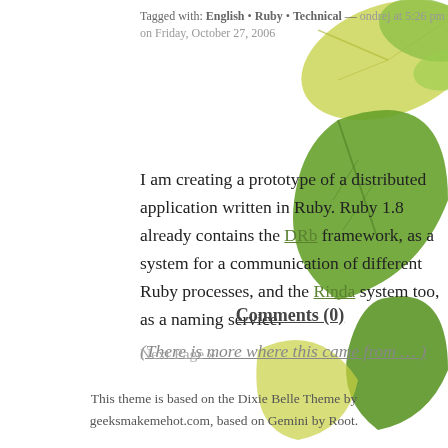[Figure (illustration): Background photo of green and yellow autumn maple leaves on the right side of the page]
Tagged with: English • Ruby • Technical — ondrej at 5:26 pm on Friday, October 27, 2006
I am creating a prototype of a distributed application written in Ruby. Ruby 1.8 already contains the DRb framework, as a system for a communication of different Ruby processes, and the Rinda system too, as a naming service. (There is more where this came from … )
Comments (0)
Next Page »
This theme is based on the Dixie Belle Theme by geeksmakemehot.com, based on Gemini by Root.